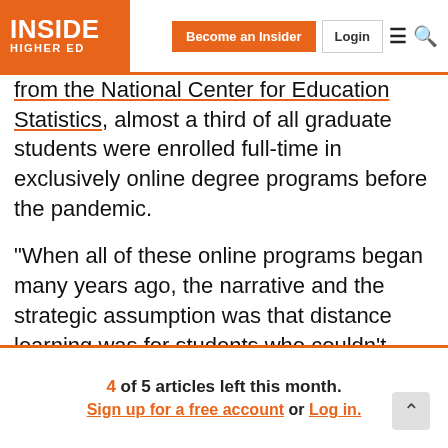INSIDE HIGHER ED | Become an Insider | Login
from the National Center for Education Statistics, almost a third of all graduate students were enrolled full-time in exclusively online degree programs before the pandemic.
“When all of these online programs began many years ago, the narrative and the strategic assumption was that distance learning was for students who couldn’t otherwise come to campus,” Gallagher said. “That has since been proven untrue.”
For Elliott, the fact that hesitancy and stigma around online program offerings is dissipating means more
4 of 5 articles left this month. Sign up for a free account or Log in.